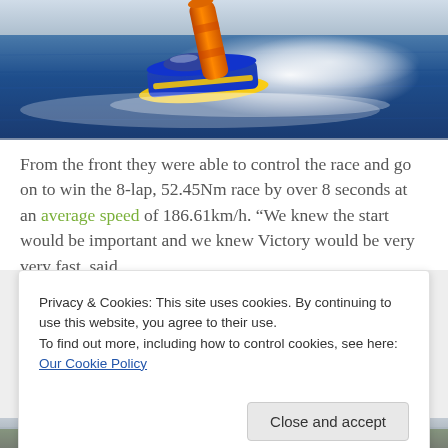[Figure (photo): A powerboat racing on open water, passing a large orange buoy marker, with white spray and wake visible. The boat is blue and yellow with colorful livery.]
From the front they were able to control the race and go on to win the 8-lap, 52.45Nm race by over 8 seconds at an average speed of 186.61km/h. "We knew the start would be important and we knew Victory would be very very fast, said
Privacy & Cookies: This site uses cookies. By continuing to use this website, you agree to their use.
To find out more, including how to control cookies, see here: Our Cookie Policy
[Figure (photo): Partial view of a coastal or waterfront scene, partially visible at bottom of page.]